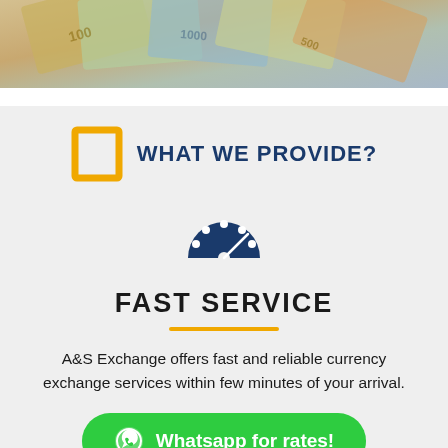[Figure (photo): Top portion showing a fan of international currency banknotes spread out on a marble surface]
WHAT WE PROVIDE?
[Figure (illustration): Dark blue speedometer/dashboard icon representing fast service]
FAST SERVICE
A&S Exchange offers fast and reliable currency exchange services within few minutes of your arrival.
Whatsapp for rates!